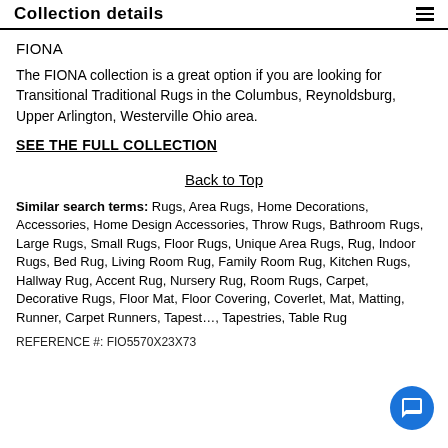Collection details
FIONA
The FIONA collection is a great option if you are looking for Transitional Traditional Rugs in the Columbus, Reynoldsburg, Upper Arlington, Westerville Ohio area.
SEE THE FULL COLLECTION
Back to Top
Similar search terms: Rugs, Area Rugs, Home Decorations, Accessories, Home Design Accessories, Throw Rugs, Bathroom Rugs, Large Rugs, Small Rugs, Floor Rugs, Unique Area Rugs, Rug, Indoor Rugs, Bed Rug, Living Room Rug, Family Room Rug, Kitchen Rugs, Hallway Rug, Accent Rug, Nursery Rug, Room Rugs, Carpet, Decorative Rugs, Floor Mat, Floor Covering, Coverlet, Mat, Matting, Runner, Carpet Runners, Tapestry, Tapestries, Table Rug
REFERENCE #: FIO5570X23X73